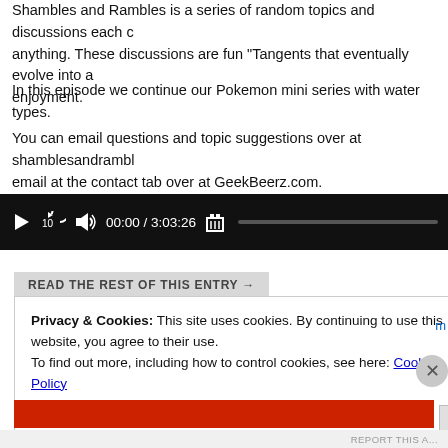Shambles and Rambles is a series of random topics and discussions each covering anything. These discussions are fun "Tangents that eventually evolve into a enjoyment.
In this episode we continue our Pokemon mini series with water types.
You can email questions and topic suggestions over at shamblesandramble email at the contact tab over at GeekBeerz.com.
[Figure (screenshot): Audio player widget with black background showing play button, replay 10s icon, volume icon, time 00:00 / 3:03:26, trash icon, and progress bar]
READ THE REST OF THIS ENTRY →
Privacy & Cookies: This site uses cookies. By continuing to use this website, you agree to their use.
To find out more, including how to control cookies, see here: Cookie Policy
Close and accept